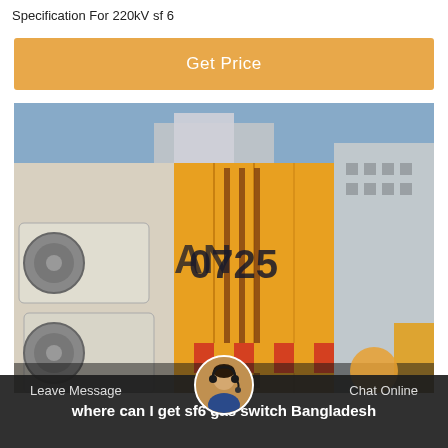Specification For 220kV sf 6
Get Price
[Figure (photo): Outdoor industrial electrical substation with yellow SF6 gas-insulated switchgear cabinet marked '0725', HVAC units visible on left, industrial equipment and structure in background]
Leave Message
Chat Online
where can I get sf6 gas switch Bangladesh